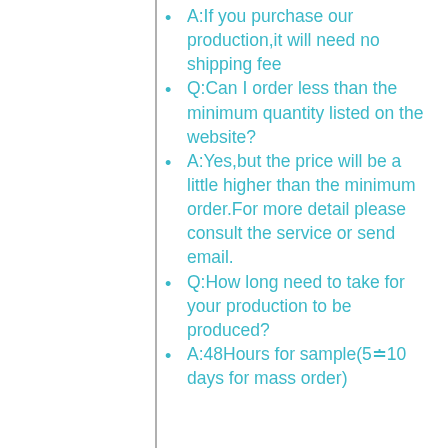A:If you purchase our production,it will need no shipping fee
Q:Can I order less than the minimum quantity listed on the website?
A:Yes,but the price will be a little higher than the minimum order.For more detail please consult the service or send email.
Q:How long need to take for your production to be produced?
A:48Hours for sample(5~10 days for mass order)